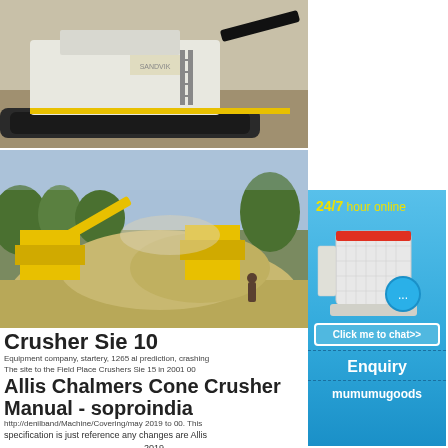[Figure (photo): Industrial mobile crusher machine on tracks at a quarry/mining site, white and black coloring]
[Figure (photo): Yellow quarry crushing equipment at a mining site with large piles of sand/gravel and dust in the air]
Crusher Sie 10
Equipment company, startery, 1265 al prediction, crashing
The site to the Field Place Crushers Sie 15 in 2001 00
Allis Chalmers Cone Crusher Manual - soproindia
http://denilband/Machine/Covering/may 2019 to 00. This
specification is just reference any changes are Allis 2019
[Figure (infographic): Blue advertisement banner: 24/7 hour online with image of industrial crusher machine, chat bubble icon, Click me to chat>> button, Enquiry text, mumumugoods branding at bottom]